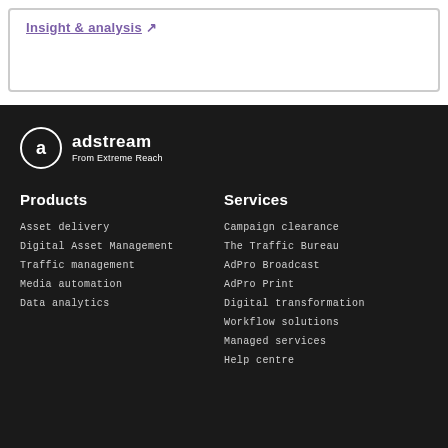Insight & analysis →
[Figure (logo): Adstream from Extreme Reach logo — circular 'a' icon with white border, text 'adstream' bold white and 'From Extreme Reach' smaller white text]
Products
Asset delivery
Digital Asset Management
Traffic management
Media automation
Data analytics
Services
Campaign clearance
The Traffic Bureau
AdPro Broadcast
AdPro Print
Digital transformation
Workflow solutions
Managed services
Help centre